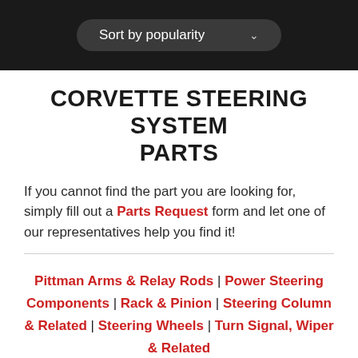Sort by popularity
CORVETTE STEERING SYSTEM PARTS
If you cannot find the part you are looking for, simply fill out a Parts Request form and let one of our representatives help you find it!
Pittman Arms & Relay Rods | Power Steering Components | Rack & Pinion | Steering Column & Related | Steering Wheels | Turn Signal, Wiper & Related